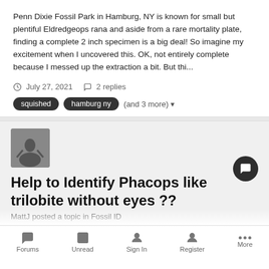Penn Dixie Fossil Park in Hamburg, NY is known for small but plentiful Eldredgeops rana and aside from a rare mortality plate, finding a complete 2 inch specimen is a big deal! So imagine my excitement when I uncovered this. OK, not entirely complete because I messed up the extraction a bit. But thi...
July 27, 2021   2 replies
squished   hamburg ny   (and 3 more)
[Figure (photo): Avatar thumbnail photo of a person on water skis]
Help to Identify Phacops like trilobite without eyes ??
MattJ posted a topic in Fossil ID
Hi members. I am a new member and developing a collection. Currently I am looking at a sample I am seeing online. They have
Forums   Unread   Sign In   Register   More